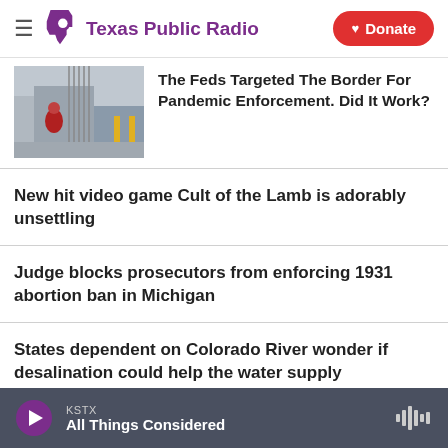Texas Public Radio | Donate
[Figure (photo): A person in a red hoodie standing at a border crossing with metal fencing visible]
The Feds Targeted The Border For Pandemic Enforcement. Did It Work?
New hit video game Cult of the Lamb is adorably unsettling
Judge blocks prosecutors from enforcing 1931 abortion ban in Michigan
States dependent on Colorado River wonder if desalination could help the water supply
KSTX All Things Considered